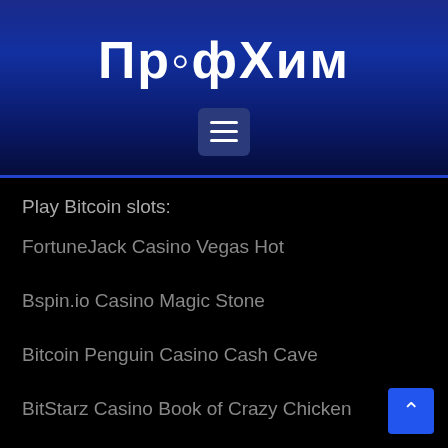[Figure (logo): ПрофХим logo with molecular/chemical icon replacing the letter 'о', white text on blue gradient background with hamburger menu button below]
Play Bitcoin slots:
FortuneJack Casino Vegas Hot
Bspin.io Casino Magic Stone
Bitcoin Penguin Casino Cash Cave
BitStarz Casino Book of Crazy Chicken